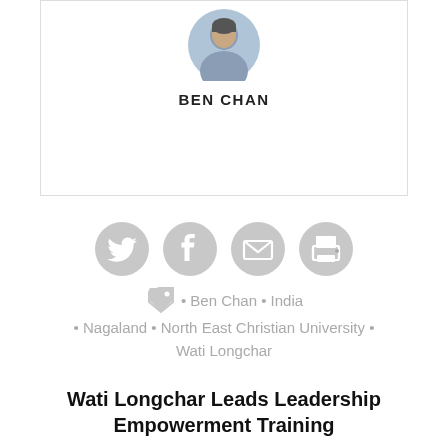[Figure (photo): Circular profile photo of Ben Chan, a person wearing a collared shirt]
BEN CHAN
[Figure (infographic): Four grey circular social media icons: Twitter bird, Facebook f, envelope/email, printer]
• Ben Chan • India
• Nagaland • North East Christian University • Wati Longchar
Wati Longchar Leads Leadership Empowerment Training